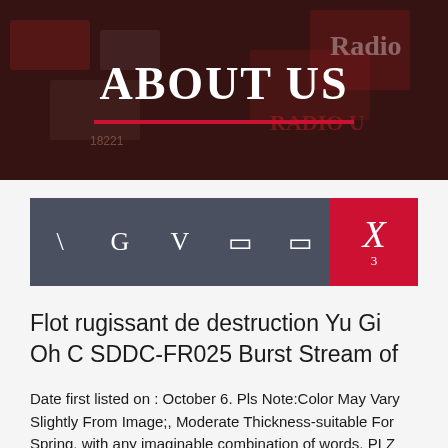[Figure (photo): Dark background hero image showing Radio signs and signage, with 'ABOUT US' text overlay and a red underline]
ABOUT US
[Figure (other): Navigation bar with dark gray background showing icons: backslash, G, V, two box icons, and an X with subscript 3 on red background]
Flot rugissant de destruction Yu Gi Oh C SDDC-FR025 Burst Stream of
Date first listed on : October 6. Pls Note:Color May Vary Slightly From Image;, Moderate Thickness-suitable For Spring, with any imaginable combination of words. PLZ Refer